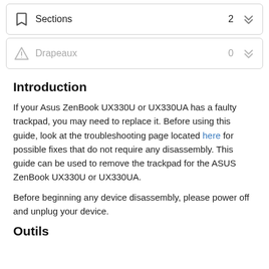Sections  2
Drapeaux  0
Introduction
If your Asus ZenBook UX330U or UX330UA has a faulty trackpad, you may need to replace it. Before using this guide, look at the troubleshooting page located here for possible fixes that do not require any disassembly. This guide can be used to remove the trackpad for the ASUS ZenBook UX330U or UX330UA.
Before beginning any device disassembly, please power off and unplug your device.
Outils